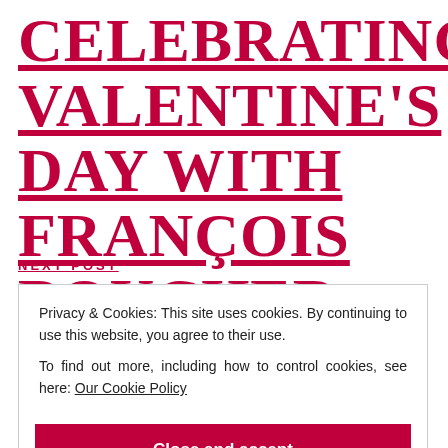CELEBRATING VALENTINE'S DAY WITH FRANÇOIS BOUCHER
NEXT POST
Privacy & Cookies: This site uses cookies. By continuing to use this website, you agree to their use.
To find out more, including how to control cookies, see here: Our Cookie Policy
Close and accept